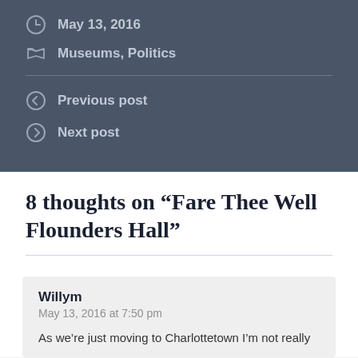May 13, 2016
Museums, Politics
Previous post
Next post
8 thoughts on “Fare Thee Well Flounders Hall”
Willym
May 13, 2016 at 7:50 pm
As we’re just moving to Charlottetown I’m not really